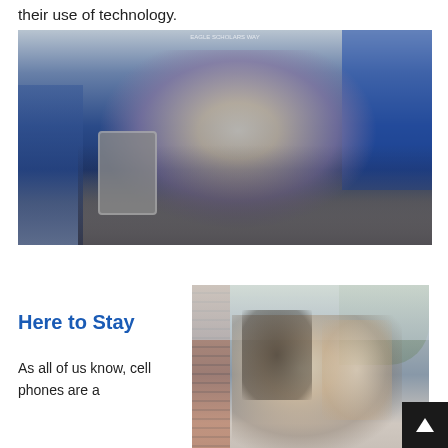their use of technology.
[Figure (photo): Group of teenage girls taking a selfie together in what appears to be a school cafeteria or common area with blue walls. One girl holds a phone camera toward the group. Students are smiling and laughing.]
Here to Stay
As all of us know, cell phones are a
[Figure (photo): Two female students outdoors at what appears to be a school campus, looking down together, possibly at a phone or paper. Brick building visible on the left, trees in the background.]